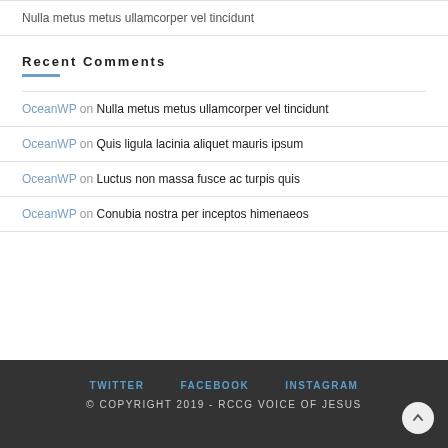Nulla metus metus ullamcorper vel tincidunt
Recent Comments
OceanWP on Nulla metus metus ullamcorper vel tincidunt
OceanWP on Quis ligula lacinia aliquet mauris ipsum
OceanWP on Luctus non massa fusce ac turpis quis
OceanWP on Conubia nostra per inceptos himenaeos
TWITTER   FACEBOOK   INSTAGRAM
© COPYRIGHT 2019 - RCCG VOICE OF JESUS